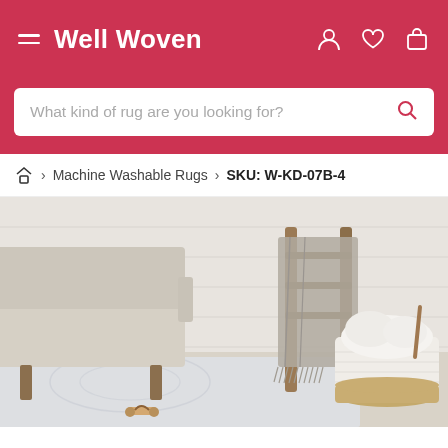Well Woven
What kind of rug are you looking for?
> Machine Washable Rugs > SKU: W-KD-07B-4
[Figure (photo): Product lifestyle photo showing a light grey washable rug in a styled living room setting with a linen sofa, wooden ladder with draped grey throw blanket, white coiled rope basket with fluffy white throw, and a small wooden toy on the rug floor. White shiplap wall in the background.]